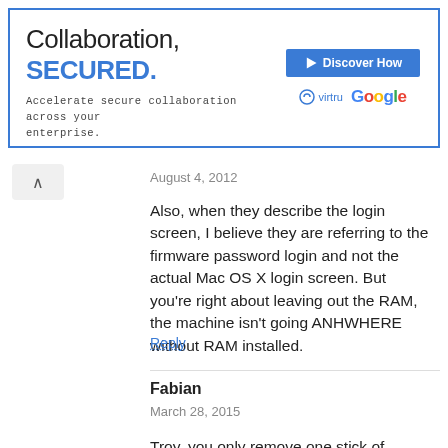[Figure (screenshot): Advertisement banner: 'Collaboration, SECURED.' with Virtru and Google logos and 'Discover How' button]
August 4, 2012
Also, when they describe the login screen, I believe they are referring to the firmware password login and not the actual Mac OS X login screen. But you're right about leaving out the RAM, the machine isn't going ANHWHERE without RAM installed.
Reply
Fabian
March 28, 2015
Troy, you only remove one stick of memory. With no RAM it will beep. Don´t take both sticks out, just one. Re-boot holding PRAM Reset. You should see the Apple Loading Bar. Then just re-install the OS X. Works just fine.
Reply